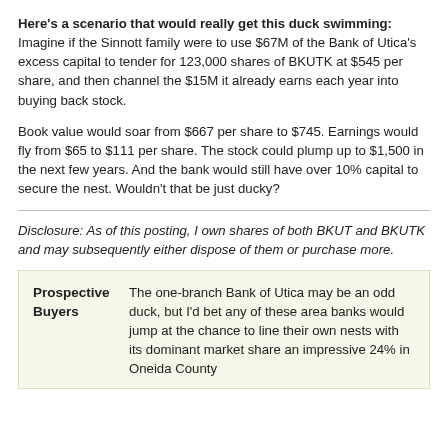Here's a scenario that would really get this duck swimming: Imagine if the Sinnott family were to use $67M of the Bank of Utica's excess capital to tender for 123,000 shares of BKUTK at $545 per share, and then channel the $15M it already earns each year into buying back stock.
Book value would soar from $667 per share to $745. Earnings would fly from $65 to $111 per share. The stock could plump up to $1,500 in the next few years. And the bank would still have over 10% capital to secure the nest. Wouldn't that be just ducky?
Disclosure: As of this posting, I own shares of both BKUT and BKUTK and may subsequently either dispose of them or purchase more.
| Prospective Buyers | Description |
| --- | --- |
| Prospective Buyers | The one-branch Bank of Utica may be an odd duck, but I'd bet any of these area banks would jump at the chance to line their own nests with its dominant market share an impressive 24% in Oneida County |